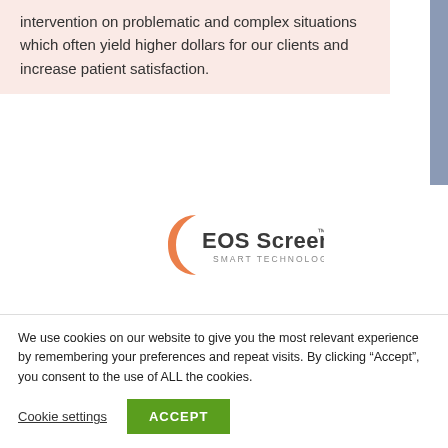intervention on problematic and complex situations which often yield higher dollars for our clients and increase patient satisfaction.
[Figure (logo): EOS Screen Smart Technology logo — stylized orange crescent arc on left, dark gray text 'EOS Screen' with superscript TM, subtitle 'SMART TECHNOLOGY' in small caps]
Our mobile screening tool is zip code driven and guides patients through a series of simple questions to identify all available public
We use cookies on our website to give you the most relevant experience by remembering your preferences and repeat visits. By clicking “Accept”, you consent to the use of ALL the cookies.
Cookie settings
ACCEPT